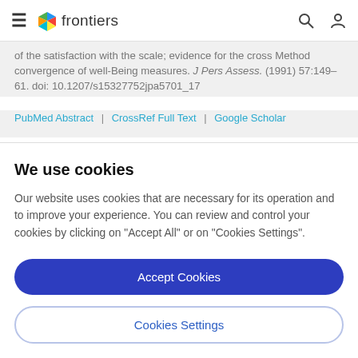frontiers
of the satisfaction with the scale; evidence for the cross Method convergence of well-Being measures. J Pers Assess. (1991) 57:149–61. doi: 10.1207/s15327752jpa5701_17
PubMed Abstract | CrossRef Full Text | Google Scholar
We use cookies
Our website uses cookies that are necessary for its operation and to improve your experience. You can review and control your cookies by clicking on "Accept All" or on "Cookies Settings".
Accept Cookies
Cookies Settings